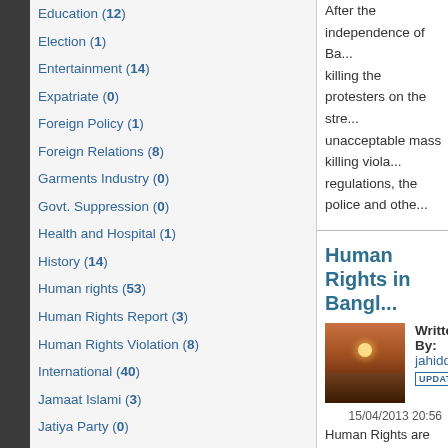Education (12)
Election (1)
Entertainment (14)
Expatriate (0)
Foreign Policy (1)
Foreign Relations (8)
Garments Industry (0)
Govt. Suppression (0)
Health and Hospital (1)
History (14)
Human rights (53)
Human Rights Report (3)
Human Rights Violation (8)
International (40)
Jamaat Islami (3)
Jatiya Party (0)
Language, Literature and Culture (0)
After the independence of Ba... killing the protesters on the stre... unacceptable mass killing viola... regulations, the police and othe...
Human Rights in Bangl...
Written By: jahiddu
UPDATED
15/04/2013 20:56
Human Rights are greatly viola... violating by the ruling governme... current repressive regime. Bec... and by organizers of programe...
Bangladesh and Freedo...
Written By: jahiddu